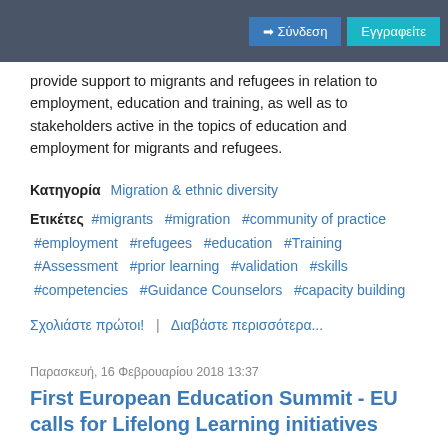Σύνδεση | Εγγραφείτε
provide support to migrants and refugees in relation to employment, education and training, as well as to stakeholders active in the topics of education and employment for migrants and refugees.
Κατηγορία  Migration & ethnic diversity
Ετικέτες  #migrants  #migration  #community of practice  #employment  #refugees  #education  #Training  #Assessment  #prior learning  #validation  #skills  #competencies  #Guidance Counselors  #capacity building
Σχολιάστε πρώτοι!  |  Διαβάστε περισσότερα...
Παρασκευή, 16 Φεβρουαρίου 2018 13:37
First European Education Summit - EU calls for Lifelong Learning initiatives
On 25th January the first EU Education Summit with 18